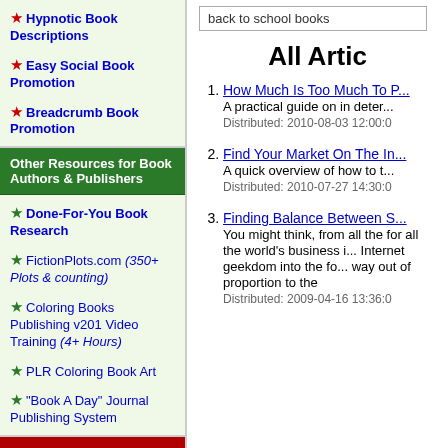★ Hypnotic Book Descriptions
★ Easy Social Book Promotion
★ Breadcrumb Book Promotion
Other Resources for Book Authors & Publishers
★ Done-For-You Book Research
★ FictionPlots.com (350+ Plots & counting)
★ Coloring Books Publishing v201 Video Training (4+ Hours)
★ PLR Coloring Book Art
★ "Book A Day" Journal Publishing System
Please Support Our Advertisers
back to school books
All Artic
1. How Much Is Too Much To P... A practical guide on in deter... Distributed: 2010-08-03 12:00:0
2. Find Your Market On The In... A quick overview of how to t... Distributed: 2010-07-27 14:30:0
3. Finding Balance Between S... You might think, from all the for all the world's business i... Internet geekdom into the fo... way out of proportion to the Distributed: 2009-04-16 13:36:0